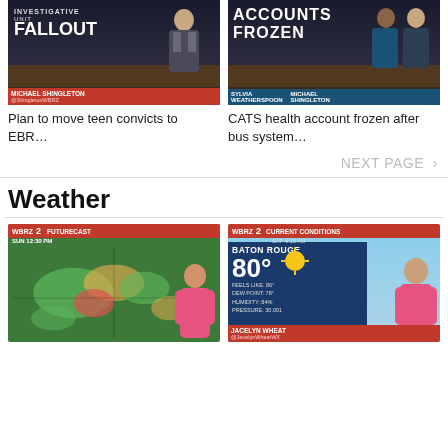[Figure (screenshot): News thumbnail: INVESTIGATIVE UNIT FALLOUT, anchor Michael Shingleton at desk. Red/dark studio background.]
[Figure (screenshot): News thumbnail: ACCOUNTS FROZEN, anchors Sylvia Weatherspoon and Michael Shingleton at desk.]
Plan to move teen convicts to EBR…
CATS health account frozen after bus system…
NEXT PAGE >
Weather
[Figure (screenshot): Weather thumbnail: WBRZ 2 FUTURECAST SUN 12:30 PM, radar map with green/red precipitation, female meteorologist in pink.]
[Figure (screenshot): Weather thumbnail: WBRZ 2 CURRENT CONDITIONS SAT 9:15 AM, Baton Rouge 80 degrees, feels like 86, dew point 78, humidity 84%, meteorologist Jacelyn Wheat in pink dress.]